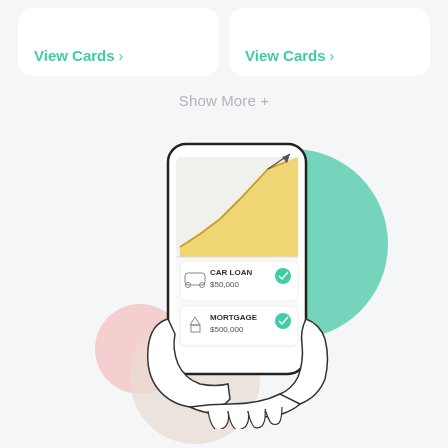View Cards >
View Cards >
Show More +
[Figure (illustration): Hand holding a smartphone displaying a financial app with an area chart showing growth (yellow/gold fill), and two loan cards: CAR LOAN $50,000 with a checkmark and car icon, and MORTGAGE $500,000 with a checkmark and building icon. Background has a teal circle, a pink circle, and a beige/tan circle.]